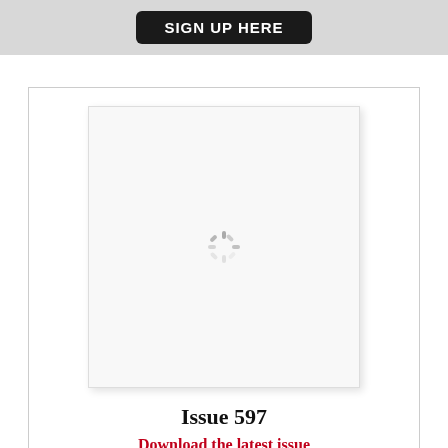[Figure (other): Dark rounded rectangle button with white bold text reading SIGN UP HERE on a light grey background bar]
[Figure (other): Box containing a loading spinner placeholder image for Issue 597, with bold text 'Issue 597' and red link text 'Download the latest issue']
Issue 597
Download the latest issue
[Figure (photo): Tablet and smartphone devices showing magazine content, partially visible at bottom left]
Get the Week in China